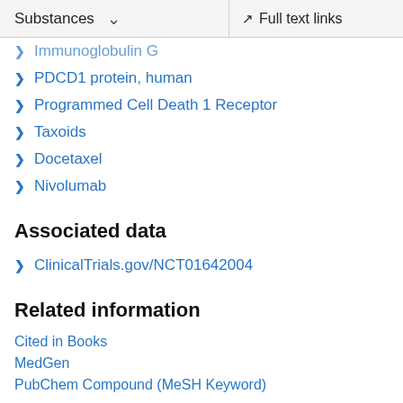Substances   Full text links
Immunoglobulin G
PDCD1 protein, human
Programmed Cell Death 1 Receptor
Taxoids
Docetaxel
Nivolumab
Associated data
ClinicalTrials.gov/NCT01642004
Related information
Cited in Books
MedGen
PubChem Compound (MeSH Keyword)